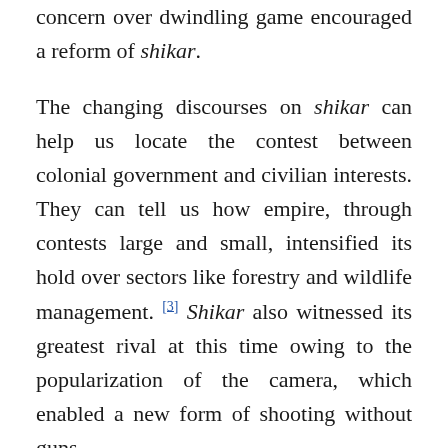concern over dwindling game encouraged a reform of shikar.
The changing discourses on shikar can help us locate the contest between colonial government and civilian interests. They can tell us how empire, through contests large and small, intensified its hold over sectors like forestry and wildlife management. [3] Shikar also witnessed its greatest rival at this time owing to the popularization of the camera, which enabled a new form of shooting without guns.